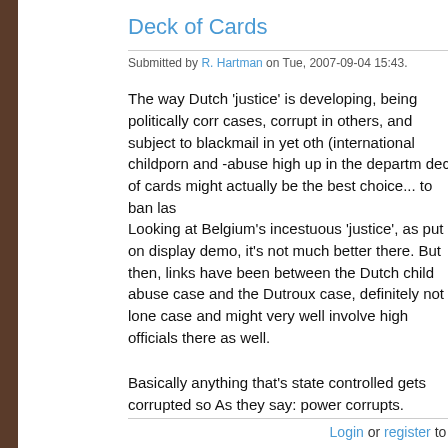Deck of Cards
Submitted by R. Hartman on Tue, 2007-09-04 15:43.
The way Dutch 'justice' is developing, being politically corr cases, corrupt in others, and subject to blackmail in yet oth (international childporn and -abuse high up in the departm deck of cards might actually be the best choice... to ban las
Looking at Belgium's incestuous 'justice', as put on display demo, it's not much better there. But then, links have been between the Dutch child abuse case and the Dutroux case, definitely not a lone case and might very well involve high officials there as well.
Basically anything that's state controlled gets corrupted so As they say: power corrupts.
Login or register to p
We could also ask: What is